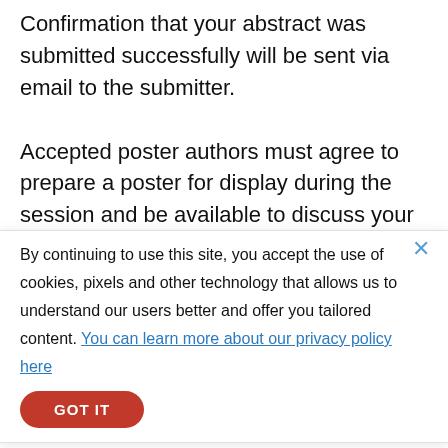Confirmation that your abstract was submitted successfully will be sent via email to the submitter.
Accepted poster authors must agree to prepare a poster for display during the session and be available to discuss your research and answer questions at the invited poster session.
By continuing to use this site, you accept the use of cookies, pixels and other technology that allows us to understand our users better and offer you tailored content. You can learn more about our privacy policy here
Anyone may organize and propose a special